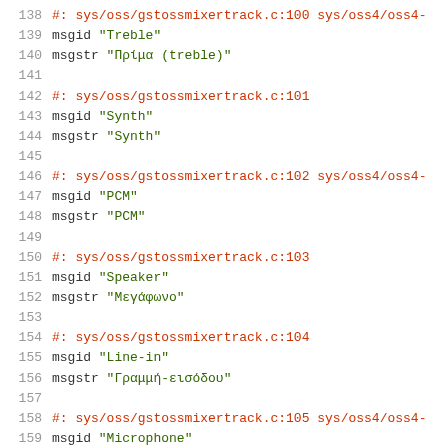138  #: sys/oss/gstossmixertrack.c:100 sys/oss4/oss4-
139  msgid "Treble"
140  msgstr "Πρίμα (treble)"
141
142  #: sys/oss/gstossmixertrack.c:101
143  msgid "Synth"
144  msgstr "Synth"
145
146  #: sys/oss/gstossmixertrack.c:102 sys/oss4/oss4-
147  msgid "PCM"
148  msgstr "PCM"
149
150  #: sys/oss/gstossmixertrack.c:103
151  msgid "Speaker"
152  msgstr "Μεγάφωνο"
153
154  #: sys/oss/gstossmixertrack.c:104
155  msgid "Line-in"
156  msgstr "Γραμμή-εισόδου"
157
158  #: sys/oss/gstossmixertrack.c:105 sys/oss4/oss4-
159  msgid "Microphone"